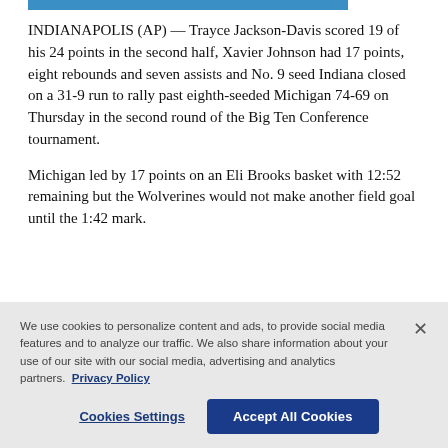INDIANAPOLIS (AP) — Trayce Jackson-Davis scored 19 of his 24 points in the second half, Xavier Johnson had 17 points, eight rebounds and seven assists and No. 9 seed Indiana closed on a 31-9 run to rally past eighth-seeded Michigan 74-69 on Thursday in the second round of the Big Ten Conference tournament.
Michigan led by 17 points on an Eli Brooks basket with 12:52 remaining but the Wolverines would not make another field goal until the 1:42 mark.
We use cookies to personalize content and ads, to provide social media features and to analyze our traffic. We also share information about your use of our site with our social media, advertising and analytics partners. Privacy Policy